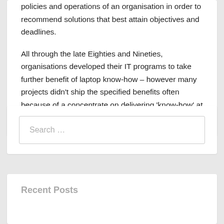policies and operations of an organisation in order to recommend solutions that best attain objectives and deadlines.

All through the late Eighties and Nineties, organisations developed their IT programs to take further benefit of laptop know-how – however many projects didn't ship the specified benefits often because of a concentrate on delivering 'know-how' at the expense of business needs.
Search …
Recent Posts